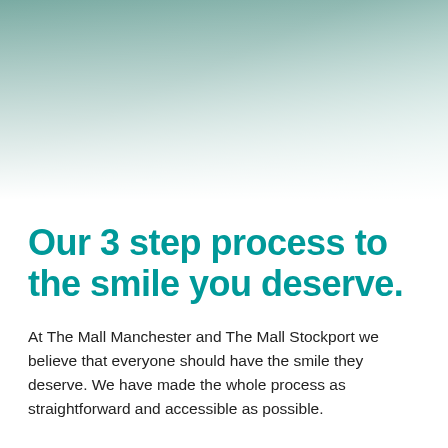[Figure (illustration): Gradient background image transitioning from muted teal/sage green on the left to light mint/white on the right, filling the top portion of the page.]
Our 3 step process to the smile you deserve.
At The Mall Manchester and The Mall Stockport we believe that everyone should have the smile they deserve. We have made the whole process as straightforward and accessible as possible.